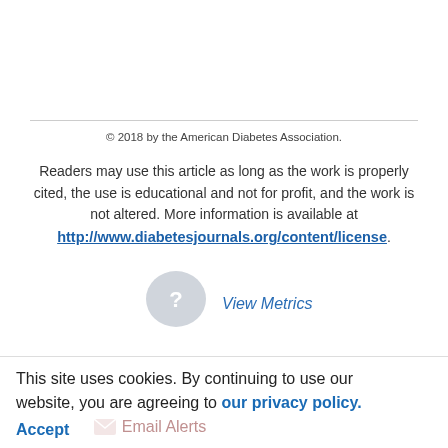© 2018 by the American Diabetes Association.
Readers may use this article as long as the work is properly cited, the use is educational and not for profit, and the work is not altered. More information is available at http://www.diabetesjournals.org/content/license.
[Figure (other): Circular question mark icon for View Metrics section]
View Metrics
This site uses cookies. By continuing to use our website, you are agreeing to our privacy policy. Accept  Email Alerts